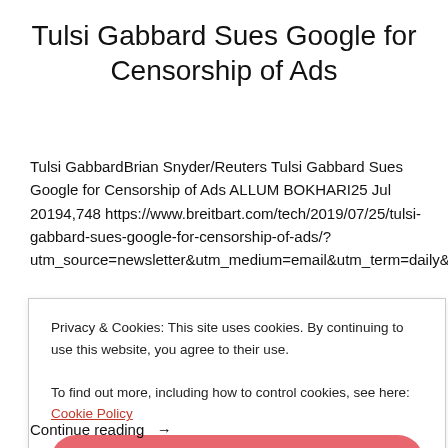Tulsi Gabbard Sues Google for Censorship of Ads
Tulsi GabbardBrian Snyder/Reuters Tulsi Gabbard Sues Google for Censorship of Ads ALLUM BOKHARI25 Jul 20194,748 https://www.breitbart.com/tech/2019/07/25/tulsi-gabbard-sues-google-for-censorship-of-ads/?utm_source=newsletter&utm_medium=email&utm_term=daily&utm_c
Privacy & Cookies: This site uses cookies. By continuing to use this website, you agree to their use.
To find out more, including how to control cookies, see here: Cookie Policy
Close and accept
Continue reading →